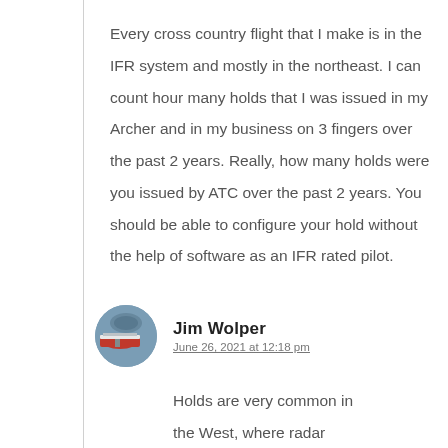Every cross country flight that I make is in the IFR system and mostly in the northeast. I can count hour many holds that I was issued in my Archer and in my business on 3 fingers over the past 2 years. Really, how many holds were you issued by ATC over the past 2 years. You should be able to configure your hold without the help of software as an IFR rated pilot.
Jim Wolper
June 26, 2021 at 12:18 pm
Holds are very common in the West, where radar